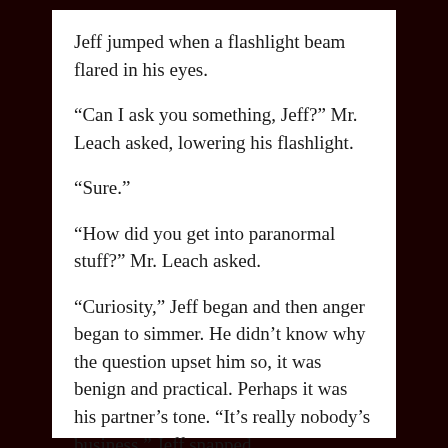Jeff jumped when a flashlight beam flared in his eyes.
“Can I ask you something, Jeff?” Mr. Leach asked, lowering his flashlight.
“Sure.”
“How did you get into paranormal stuff?” Mr. Leach asked.
“Curiosity,” Jeff began and then anger began to simmer. He didn’t know why the question upset him so, it was benign and practical. Perhaps it was his partner’s tone. “It’s really nobody’s business,” Jeff snapped.
“Fair enough,” Mr. Leach said. “What did your fiancée say about it?”